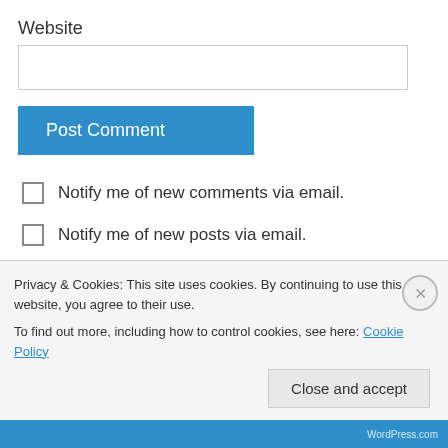Website
[Figure (screenshot): Empty text input box for Website field]
[Figure (screenshot): Post Comment button in blue]
Notify me of new comments via email.
Notify me of new posts via email.
Evan Rosenberg on May 24, 2007 at 9:40 am
Privacy & Cookies: This site uses cookies. By continuing to use this website, you agree to their use.
To find out more, including how to control cookies, see here: Cookie Policy
Close and accept